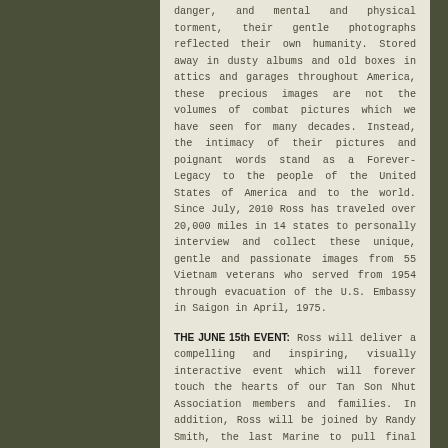danger, and mental and physical torment, their gentle photographs reflected their own humanity. Stored away in dusty albums and old boxes in attics and garages throughout America, these precious images are not the volumes of combat pictures which we have seen for many decades. Instead, the intimacy of their pictures and poignant words stand as a Forever-Legacy to the people of the United States of America and to the world. Since July, 2010 Ross has traveled over 20,000 miles in 14 states to personally interview and collect these unique, gentle and passionate images from 55 Vietnam veterans who served from 1954 through evacuation of the U.S. Embassy in Saigon in April, 1975.
THE JUNE 15th EVENT: Ross will deliver a compelling and inspiring, visually interactive event which will forever touch the hearts of our Tan Son Nhut Association members and families. In addition, Ross will be joined by Randy Smith, the last Marine to pull final Colors at the Embassy on that final April 1975 day. We urge all members and their families to join us on this day.
"Welcome Home/A Monument of Honor" is a limited